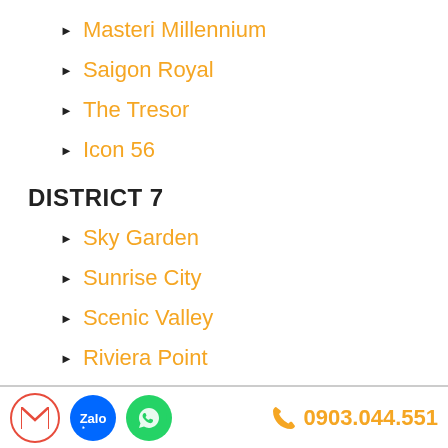Masteri Millennium
Saigon Royal
The Tresor
Icon 56
DISTRICT 7
Sky Garden
Sunrise City
Scenic Valley
Riviera Point
0903.044.551